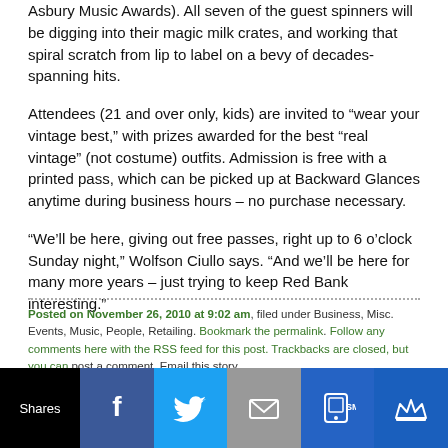Asbury Music Awards). All seven of the guest spinners will be digging into their magic milk crates, and working that spiral scratch from lip to label on a bevy of decades-spanning hits.
Attendees (21 and over only, kids) are invited to “wear your vintage best,” with prizes awarded for the best “real vintage” (not costume) outfits. Admission is free with a printed pass, which can be picked up at Backward Glances anytime during business hours – no purchase necessary.
“We’ll be here, giving out free passes, right up to 6 o’clock Sunday night,” Wolfson Ciullo says. “And we’ll be here for many more years – just trying to keep Red Bank interesting.”
Posted on November 26, 2010 at 9:02 am, filed under Business, Misc. Events, Music, People, Retailing. Bookmark the permalink. Follow any comments here with the RSS feed for this post. Trackbacks are closed, but you can post a comment. Email this story.
[Figure (infographic): Social sharing bar with Shares label and buttons for Facebook, Twitter, Email, SMS, and Crown/Kingsumo]